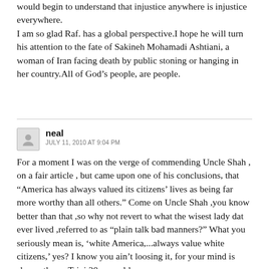would begin to understand that injustice anywhere is injustice everywhere.
I am so glad Raf. has a global perspective.I hope he will turn his attention to the fate of Sakineh Mohamadi Ashtiani, a woman of Iran facing death by public stoning or hanging in her country.All of God's people, are people.
neal
JULY 11, 2010 AT 9:04 PM
For a moment I was on the verge of commending Uncle Shah , on a fair article , but came upon one of his conclusions, that “America has always valued its citizens’ lives as being far more worthy than all others.” Come on Uncle Shah ,you know better than that ,so why not revert to what the wisest lady dat ever lived ,referred to as “plain talk bad manners?” What you seriously mean is, ‘white America,...always value white citizens,’ yes? I know you ain’t loosing it, for your mind is shaper than a Trini 20 year old ,